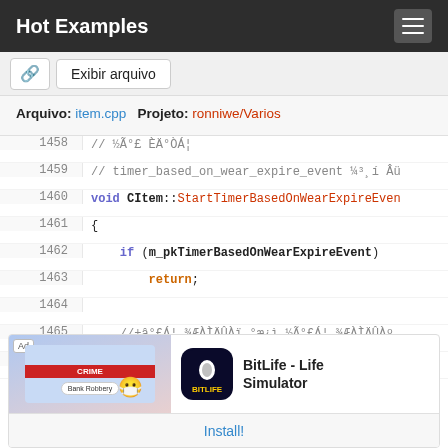Hot Examples
Exibir arquivo
Arquivo: item.cpp   Projeto: ronniwe/Varios
1458  // ½Ã°£ ÈÄ°ÒÁ¦
1459  // timer_based_on_wear_expire_event ¼³¸í Âü
1460  void CItem::StartTimerBasedOnWearExpireEven
1461  {
1462      if (m_pkTimerBasedOnWearExpireEvent)
1463          return;
1464  
1465      //±â°£Á¦ ¾ÆÀÌÄÛÀï °æ¿ì ½Ã°£Á¦ ¾ÆÀÌÄÛÀº
1466      if (IsRealTimeItem())
[Figure (screenshot): Ad banner for BitLife - Life Simulator with game screenshot and Install button]